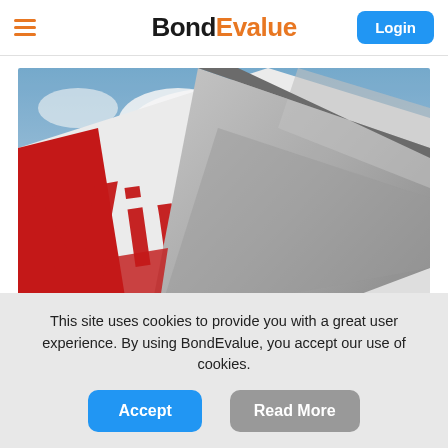BondEvalue — Login
[Figure (photo): Close-up photo of a Virgin Australia aircraft tail fin and wing against a cloudy blue sky, showing the red Virgin logo lettering on white aircraft livery.]
This site uses cookies to provide you with a great user experience. By using BondEvalue, you accept our use of cookies.
Accept | Read More